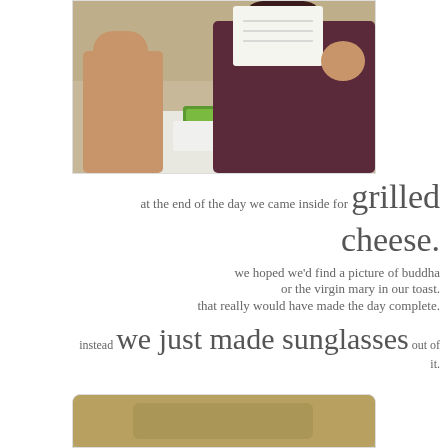[Figure (photo): Two people sitting outdoors at a white table, one holding up a piece of paper, with a green box of candy on the table.]
at the end of the day we came inside for grilled cheese. we hoped we'd find a picture of buddha or the virgin mary in our toast. that really would have made the day complete. instead we just made sunglasses out of it.
[Figure (photo): Bottom portion of a photo showing a brown/golden surface, partially visible, with rounded top corners.]